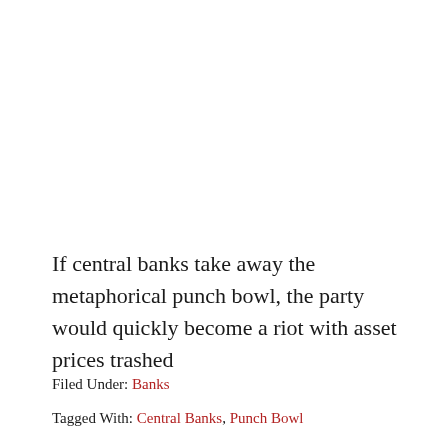If central banks take away the metaphorical punch bowl, the party would quickly become a riot with asset prices trashed
Filed Under: Banks
Tagged With: Central Banks, Punch Bowl